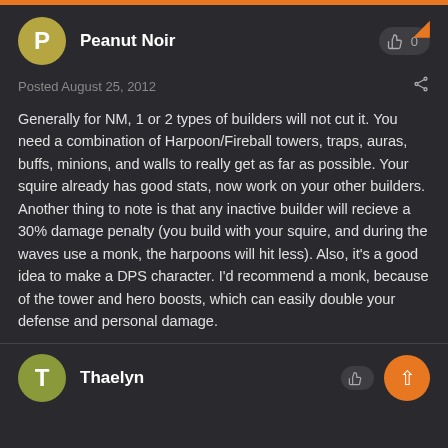Peanut Noir
Posted August 25, 2012
Generally for NM, 1 or 2 types of builders will not cut it. You need a combination of Harpoon/Fireball towers, traps, auras, buffs, minions, and walls to really get as far as possible. Your squire already has good stats, now work on your other builders. Another thing to note is that any inactive builder will recieve a 30% damage penalty (you build with your squire, and during the waves use a monk, the harpoons will hit less). Also, it's a good idea to make a DPS character. I'd recommend a monk, because of the tower and hero boosts, which can easily double your defense and personal damage.
Thaelyn